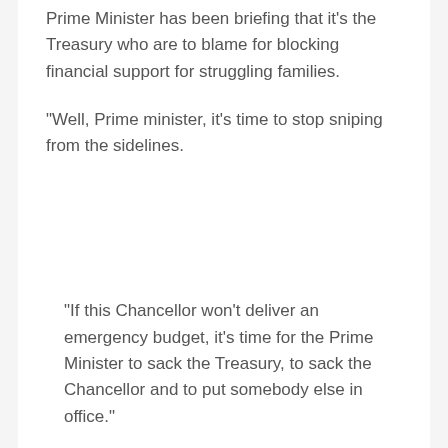Prime Minister has been briefing that it's the Treasury who are to blame for blocking financial support for struggling families.
“Well, Prime minister, it’s time to stop sniping from the sidelines.
“If this Chancellor won’t deliver an emergency budget, it’s time for the Prime Minister to sack the Treasury, to sack the Chancellor and to put somebody else in office.”